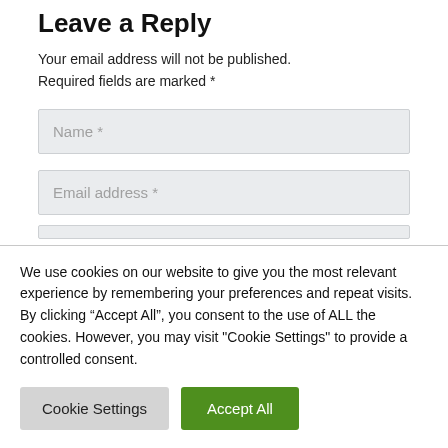Leave a Reply
Your email address will not be published. Required fields are marked *
Name *
Email address *
We use cookies on our website to give you the most relevant experience by remembering your preferences and repeat visits. By clicking “Accept All”, you consent to the use of ALL the cookies. However, you may visit "Cookie Settings" to provide a controlled consent.
Cookie Settings
Accept All